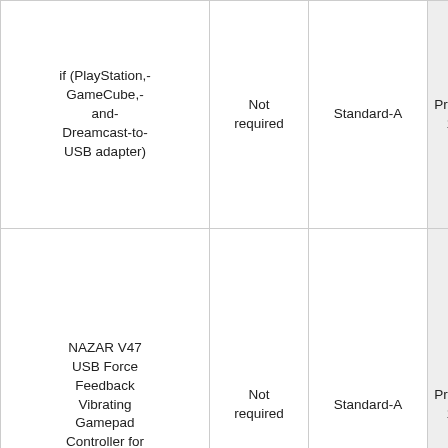| Device Name | Required | Connector | Probably... |
| --- | --- | --- | --- |
| if (PlayStation,- GameCube,- and- Dreamcast-to- USB adapter) | Not required | Standard-A | Probab... 1.1... |
| NAZAR V47 USB Force Feedback Vibrating Gamepad Controller for PC | Not required | Standard-A | Probab... 1.1... |
| 10-Fire-Button Double Vibration Feedback USB... | Not required | Standard-A | Probab... 1.1... |